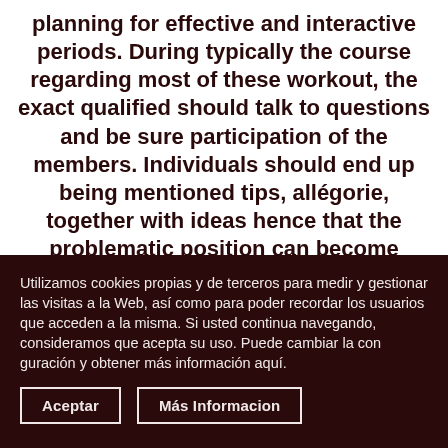planning for effective and interactive periods. During typically the course regarding most of these workout, the exact qualified should talk to questions and be sure participation of the members. Individuals should end up being mentioned tips, allégorie, together with ideas hence that the problematic position can become remedied. Often the planning should be flawless, as well
Utilizamos cookies propias y de terceros para medir y gestionar las visitas a la Web, así como para poder recordar los usuarios que acceden a la misma. Si usted continua navegando, consideramos que acepta su uso. Puede cambiar la con guración y obtener más información aquí.
Aceptar
Más Informacion